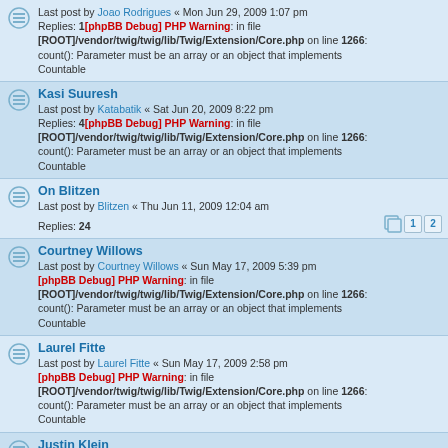Joao Rodrigues - Last post by Joao Rodrigues « Mon Jun 29, 2009 1:07 pm - Replies: 1[phpBB Debug] PHP Warning: in file [ROOT]/vendor/twig/twig/lib/Twig/Extension/Core.php on line 1266: count(): Parameter must be an array or an object that implements Countable
Kasi Suuresh - Last post by Katabatik « Sat Jun 20, 2009 8:22 pm - Replies: 4[phpBB Debug] PHP Warning: in file [ROOT]/vendor/twig/twig/lib/Twig/Extension/Core.php on line 1266: count(): Parameter must be an array or an object that implements Countable
On Blitzen - Last post by Blitzen « Thu Jun 11, 2009 12:04 am - Replies: 24
Courtney Willows - Last post by Courtney Willows « Sun May 17, 2009 5:39 pm - [phpBB Debug] PHP Warning: in file [ROOT]/vendor/twig/twig/lib/Twig/Extension/Core.php on line 1266: count(): Parameter must be an array or an object that implements Countable
Laurel Fitte - Last post by Laurel Fitte « Sun May 17, 2009 2:58 pm - [phpBB Debug] PHP Warning: in file [ROOT]/vendor/twig/twig/lib/Twig/Extension/Core.php on line 1266: count(): Parameter must be an array or an object that implements Countable
Justin Klein - Last post by Jake Klein « Tue Mar 31, 2009 8:14 am - Replies: 1[phpBB Debug] PHP Warning: in file [ROOT]/vendor/twig/twig/lib/Twig/Extension/Core.php on line 1266: count(): Parameter must be an array or an object that implements Countable